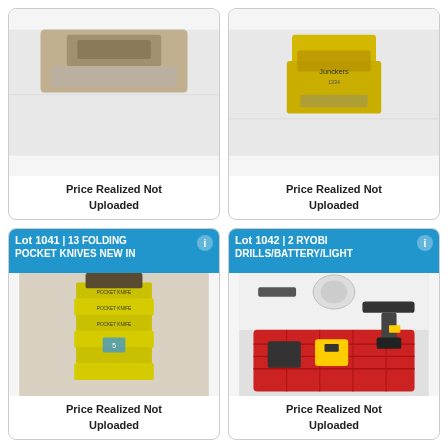[Figure (photo): Auction lot card top-left (no lot number visible), showing partial image of items. Price Realized Not Uploaded.]
Price Realized Not Uploaded
[Figure (photo): Auction lot card top-right (no lot number visible), showing two yellow boxes (Junckers brand). Price Realized Not Uploaded.]
Price Realized Not Uploaded
[Figure (photo): Lot 1041 | 13 FOLDING POCKET KNIVES NEW IN [BOX]. Photo shows stacked yellow product boxes. Price Realized Not Uploaded.]
Price Realized Not Uploaded
[Figure (photo): Lot 1042 | 2 RYOBI DRILLS/BATTERY/LIGHT. Photo shows a red basket with Ryobi drills, batteries, and a light. Price Realized Not Uploaded.]
Price Realized Not Uploaded